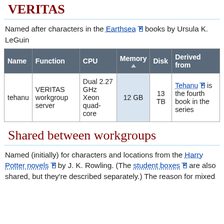VERITAS
Named after characters in the Earthsea books by Ursula K. LeGuin
| Name | Function | CPU | Memory | Disk | Derived from |
| --- | --- | --- | --- | --- | --- |
| tehanu | VERITAS workgroup server | Dual 2.27 GHz Xeon quad-core | 12 GB | 13 TB | Tehanu is the fourth book in the series |
Shared between workgroups
Named (initially) for characters and locations from the Harry Potter novels by J. K. Rowling. (The student boxes are also shared, but they're described separately.) The reason for mixed